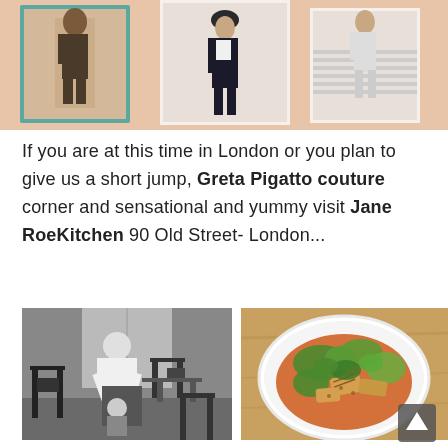[Figure (photo): Indoor gallery wall with framed fashion photographs on a pink/peach wall, including portraits of models]
If you are at this time in London or you plan to give us a short jump, Greta Pigatto couture corner and sensational and yummy visit Jane RoeKitchen 90 Old Street- London...
[Figure (photo): Black and white photo of a person bending down in a cafe/restaurant interior with chairs and tables]
[Figure (photo): Color photo of a white bowl with a salad featuring greens, halloumi cheese and vegetables on a wooden table]